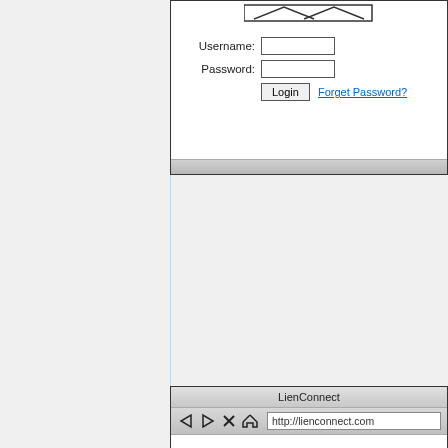[Figure (screenshot): Partial browser mockup showing a login form with Username and Password fields, a Login button, and a 'Forget Password?' link. A gray status bar at the bottom.]
[Figure (screenshot): Browser mockup window titled 'LienConnect' with navigation buttons (back, forward, stop, home), address bar showing 'http://lienconnect.com', and a page with 'Enter your username:' input field and Submit button.]